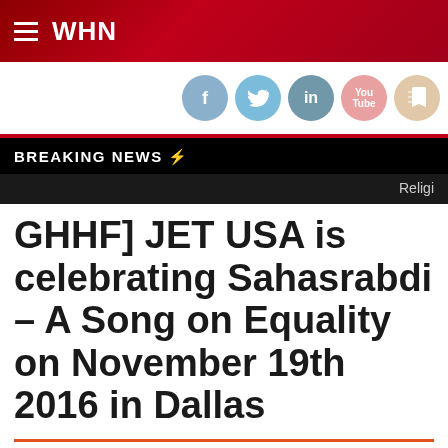WHN
[Figure (other): Social media icons: Facebook, Twitter, LinkedIn, YouTube, RSS]
BREAKING NEWS ⚡
Religi
GHHF] JET USA is celebrating Sahasrabdi – A Song on Equality on November 19th 2016 in Dallas